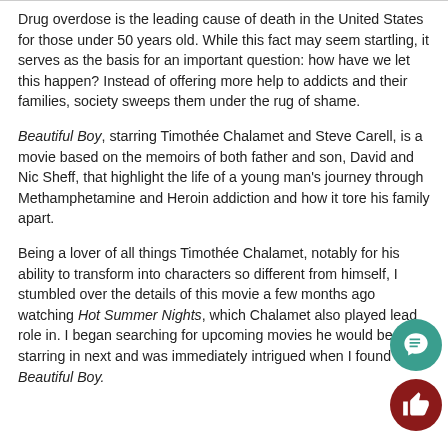Drug overdose is the leading cause of death in the United States for those under 50 years old. While this fact may seem startling, it serves as the basis for an important question: how have we let this happen? Instead of offering more help to addicts and their families, society sweeps them under the rug of shame.
Beautiful Boy, starring Timothée Chalamet and Steve Carell, is a movie based on the memoirs of both father and son, David and Nic Sheff, that highlight the life of a young man's journey through Methamphetamine and Heroin addiction and how it tore his family apart.
Being a lover of all things Timothée Chalamet, notably for his ability to transform into characters so different from himself, I stumbled over the details of this movie a few months ago watching Hot Summer Nights, which Chalamet also played lead role in. I began searching for upcoming movies he would be starring in next and was immediately intrigued when I found Beautiful Boy.
[Figure (illustration): Teal circular chat bubble icon button in bottom right area]
[Figure (illustration): Dark red circular thumbs up icon button in bottom right corner]